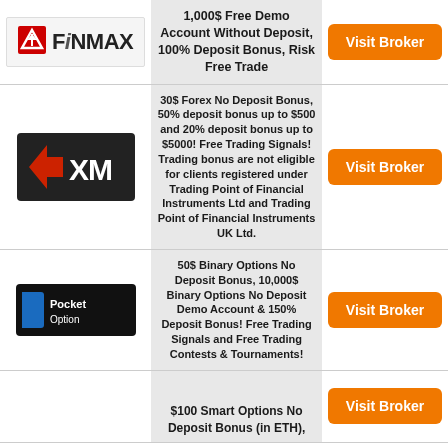| Logo | Description | Action |
| --- | --- | --- |
| FiNMAX | 1,000$ Free Demo Account Without Deposit, 100% Deposit Bonus, Risk Free Trade | Visit Broker |
| XM | 30$ Forex No Deposit Bonus, 50% deposit bonus up to $500 and 20% deposit bonus up to $5000! Free Trading Signals! Trading bonus are not eligible for clients registered under Trading Point of Financial Instruments Ltd and Trading Point of Financial Instruments UK Ltd. | Visit Broker |
| Pocket Option | 50$ Binary Options No Deposit Bonus, 10,000$ Binary Options No Deposit Demo Account & 150% Deposit Bonus! Free Trading Signals and Free Trading Contests & Tournaments! | Visit Broker |
| (logo) | $100 Smart Options No Deposit Bonus (in ETH), | Visit Broker |